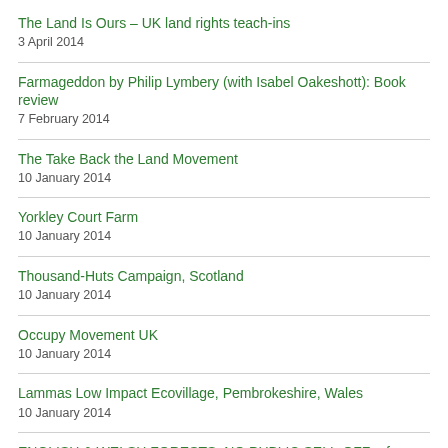The Land Is Ours – UK land rights teach-ins
3 April 2014
Farmageddon by Philip Lymbery (with Isabel Oakeshott): Book review
7 February 2014
The Take Back the Land Movement
10 January 2014
Yorkley Court Farm
10 January 2014
Thousand-Huts Campaign, Scotland
10 January 2014
Occupy Movement UK
10 January 2014
Lammas Low Impact Ecovillage, Pembrokeshire, Wales
10 January 2014
ENGLISH & WELSH FORESTS: NO PUBLIC SELL-OFF ...for now
10 January 2014